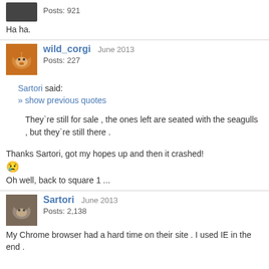Posts: 921
Ha ha.
wild_corgi  June 2013
Posts: 227
Sartori said:
» show previous quotes
They`re still for sale , the ones left are seated with the seagulls , but they`re still there .
Thanks Sartori, got my hopes up and then it crashed!
😢
Oh well, back to square 1 ...
Sartori  June 2013
Posts: 2,138
My Chrome browser had a hard time on their site . I used IE in the end .